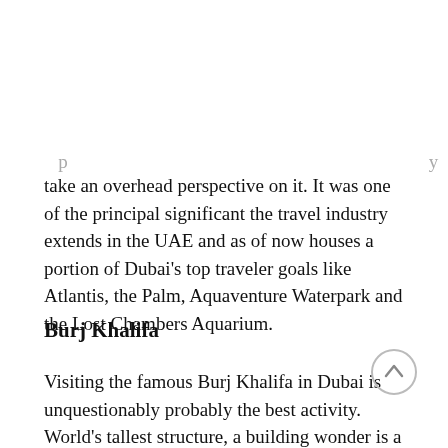take an overhead perspective on it. It was one of the principal significant the travel industry extends in the UAE and as of now houses a portion of Dubai's top traveler goals like Atlantis, the Palm, Aquaventure Waterpark and the Lost Chambers Aquarium.
Burj Khalifa
Visiting the famous Burj Khalifa in Dubai is unquestionably probably the best activity. World's tallest structure, a building wonder is a dazzling gem and has a